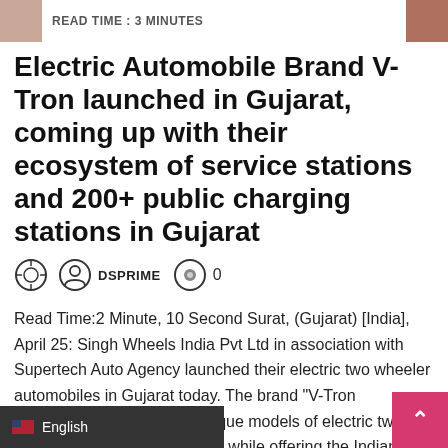READ TIME : 3 MINUTES
Electric Automobile Brand V-Tron launched in Gujarat, coming up with their ecosystem of service stations and 200+ public charging stations in Gujarat
DSPRIME  0
Read Time:2 Minute, 10 Second Surat, (Gujarat) [India], April 25: Singh Wheels India Pvt Ltd in association with Supertech Auto Agency launched their electric two wheeler automobiles in Gujarat today. The brand “V-Tron Supertech” launched five unique models of electric two wheeler in the state, while offering the Indian
English